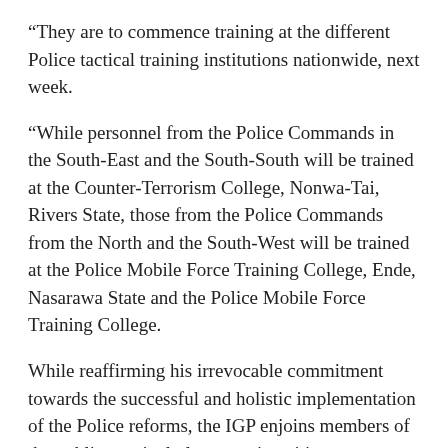“They are to commence training at the different Police tactical training institutions nationwide, next week.
“While personnel from the Police Commands in the South-East and the South-South will be trained at the Counter-Terrorism College, Nonwa-Tai, Rivers State, those from the Police Commands from the North and the South-West will be trained at the Police Mobile Force Training College, Ende, Nasarawa State and the Police Mobile Force Training College.
While reaffirming his irrevocable commitment towards the successful and holistic implementation of the Police reforms, the IGP enjoins members of the public, particularly protesting citizens to exercise restraint and allow measures being put in place to come to fruition and engender a Police Force that would meet the